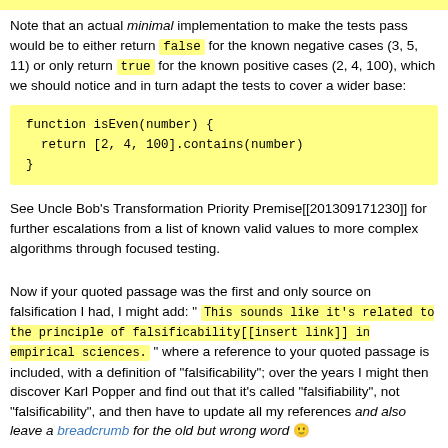Note that an actual minimal implementation to make the tests pass would be to either return false for the known negative cases (3, 5, 11) or only return true for the known positive cases (2, 4, 100), which we should notice and in turn adapt the tests to cover a wider base:
[Figure (screenshot): Code block showing: function isEven(number) { return [2, 4, 100].contains(number) }]
See Uncle Bob's Transformation Priority Premise[[201309171230]] for further escalations from a list of known valid values to more complex algorithms through focused testing.
Now if your quoted passage was the first and only source on falsification I had, I might add: " This sounds like it's related to the principle of falsificability[[insert link]] in empirical sciences. " where a reference to your quoted passage is included, with a definition of "falsificability"; over the years I might then discover Karl Popper and find out that it's called "falsifiability", not "falsificability", and then have to update all my references and also leave a breadcrumb for the old but wrong word 🙂
Hope that's kind of a surprise answer that also helps with understanding the